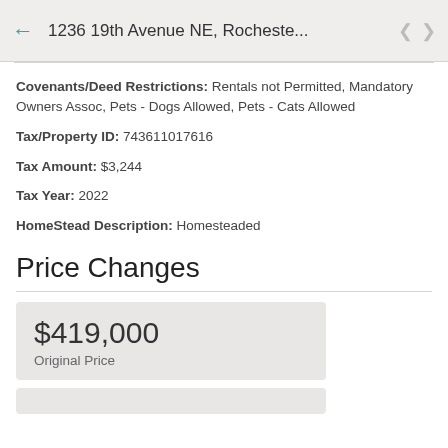1236 19th Avenue NE, Rocheste...
Covenants/Deed Restrictions: Rentals not Permitted, Mandatory Owners Assoc, Pets - Dogs Allowed, Pets - Cats Allowed
Tax/Property ID: 743611017616
Tax Amount: $3,244
Tax Year: 2022
HomeStead Description: Homesteaded
Price Changes
$419,000
Original Price